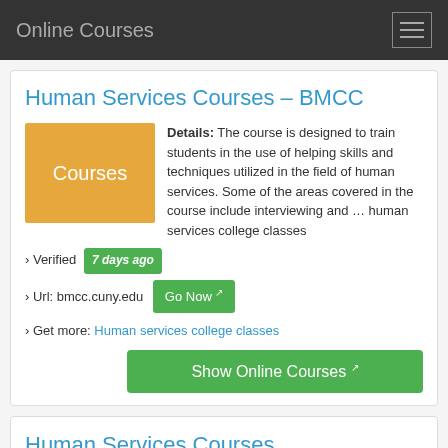Online Courses
Human Services Courses – BMCC
Details: The course is designed to train students in the use of helping skills and techniques utilized in the field of human services. Some of the areas covered in the course include interviewing and … human services college classes
› Verified 7 days ago
› Url: bmcc.cuny.edu Go Now
› Get more: Human services college classes
Show Online Courses
Human Services Courses Northcentral Technical College